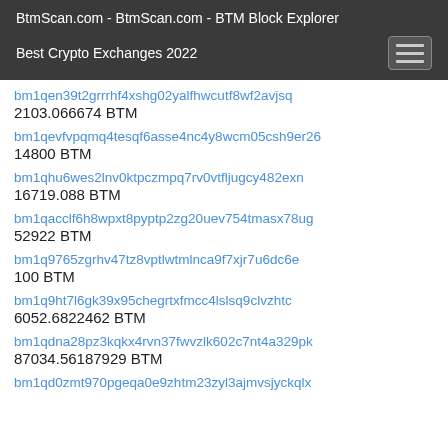BtmScan.com - BtmScan.com - BTM Block Explorer
Best Crypto Exchanges 2022
bm1qen39t2grrrhf4xshg02yalfhwcutf8wf2avjsq
2103.066674 BTM
bm1qevfvpqmq4tesqf6asse4nc4y8wcm05csh9er26
14800 BTM
bm1qhu6wes2lnv0ktpczmpq7rv0vtfljugcy482exn
16719.088 BTM
bm1qacclf6h8wpxt8pyptp2zg20uev754tmasx78ug
52922 BTM
bm1q9765zgrhv47tz8vptlwtmlnca9f7xjr7u6dc6e
100 BTM
bm1q9ht7l6gk39x95chegrtxfmcc4lslsq9clvzhtc
6052.6822462 BTM
bm1qdna28pz3kqkx4rvn37fwvzlk602c7nt4a329pk
87034.56187929 BTM
bm1qd0zmt970pgeqa0e9zhtm23zyl3ajmvsjyckqlx